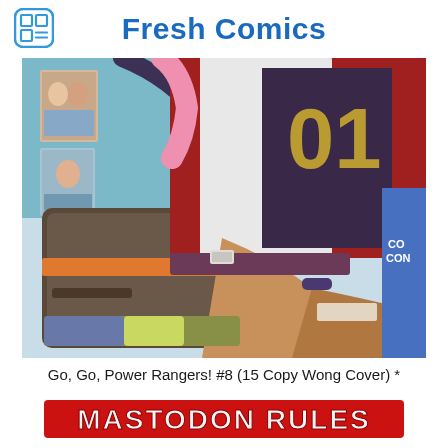Fresh Comics
[Figure (illustration): Comic book cover art showing a close-up of a character in an anime/manga style seated, wearing a varsity jacket with number 01, holding a backpack, with comic book posters visible in the background — the cover for Go, Go, Power Rangers! #8 (15 Copy Wong Cover)]
Go, Go, Power Rangers! #8 (15 Copy Wong Cover) *
MASTODON RULES